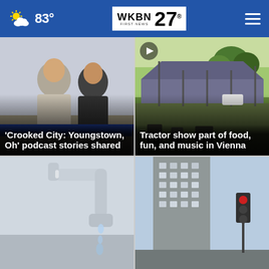83° WKBN 27 FIRST NEWS
[Figure (photo): Two men sitting at a table in a meeting room]
'Crooked City: Youngstown, Oh' podcast stories shared
[Figure (photo): Outdoor tent/canopy structure in a green field with a car in the background, video play button overlay]
Tractor show part of food, fun, and music in Vienna
[Figure (photo): Close-up of a water faucet with water dripping]
[Figure (photo): Urban street scene with tall building and traffic light]